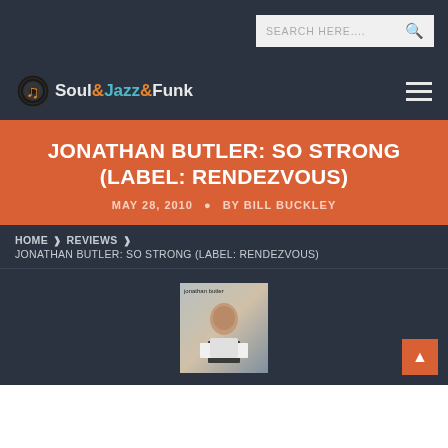SEARCH HERE....
[Figure (logo): Soul&Jazz&Funk music website logo with musical note icon]
JONATHAN BUTLER: SO STRONG (LABEL: RENDEZVOUS)
MAY 28, 2010 • BY BILL BUCKLEY
HOME > REVIEWS > JONATHAN BUTLER: SO STRONG (LABEL: RENDEZVOUS)
[Figure (photo): Album cover for Jonathan Butler: So Strong showing a man posed at a table]
Back to top button